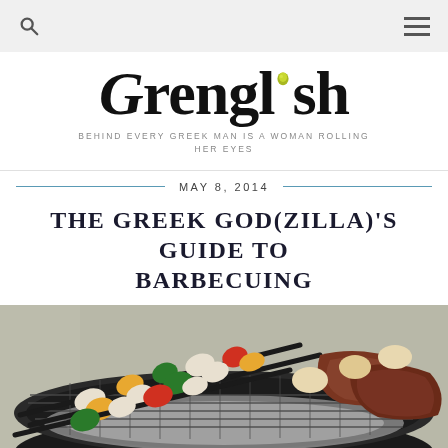GRENGLISH
BEHIND EVERY GREEK MAN IS A WOMAN ROLLING HER EYES
MAY 8, 2014
THE GREEK GOD(ZILLA)'S GUIDE TO BARBECUING
[Figure (photo): Photo of meat and vegetable kebabs on a barbecue grill, with skewers containing peppers, zucchini, mushrooms and meat over charcoal grill grate]